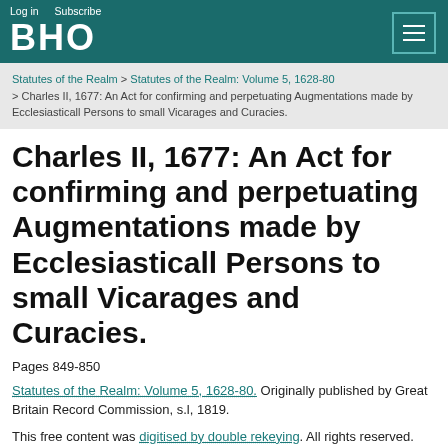Log in  Subscribe  BHO
Statutes of the Realm > Statutes of the Realm: Volume 5, 1628-80 > Charles II, 1677: An Act for confirming and perpetuating Augmentations made by Ecclesiasticall Persons to small Vicarages and Curacies.
Charles II, 1677: An Act for confirming and perpetuating Augmentations made by Ecclesiasticall Persons to small Vicarages and Curacies.
Pages 849-850
Statutes of the Realm: Volume 5, 1628-80. Originally published by Great Britain Record Commission, s.l, 1819.
This free content was digitised by double rekeying. All rights reserved.
Citation: BHO
We use cookies on this site